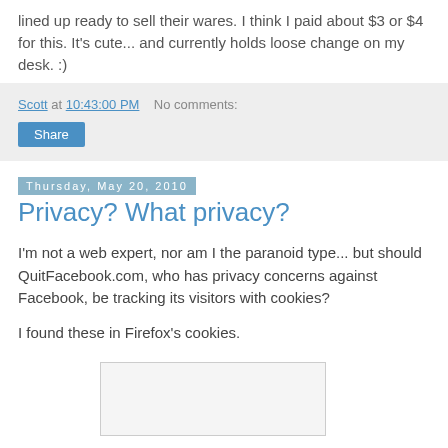lined up ready to sell their wares. I think I paid about $3 or $4 for this. It's cute... and currently holds loose change on my desk. :)
Scott at 10:43:00 PM   No comments:
Share
Thursday, May 20, 2010
Privacy? What privacy?
I'm not a web expert, nor am I the paranoid type... but should QuitFacebook.com, who has privacy concerns against Facebook, be tracking its visitors with cookies?
I found these in Firefox's cookies.
[Figure (screenshot): Screenshot of Firefox cookies list showing QuitFacebook.com cookies]